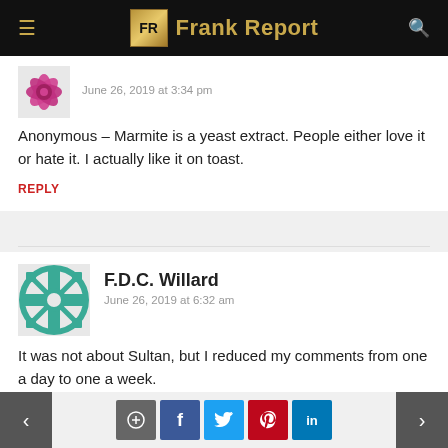Frank Report
June 26, 2019 at 3:34 pm
Anonymous – Marmite is a yeast extract. People either love it or hate it. I actually like it on toast.
REPLY
F.D.C. Willard
June 26, 2019 at 6:32 am
It was not about Sultan, but I reduced my comments from one a day to one a week.
REPLY